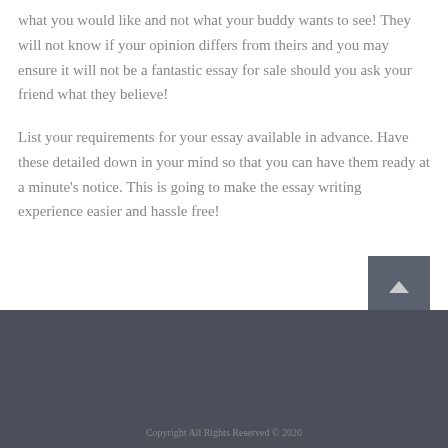what you would like and not what your buddy wants to see! They will not know if your opinion differs from theirs and you may ensure it will not be a fantastic essay for sale should you ask your friend what they believe!
List your requirements for your essay available in advance. Have these detailed down in your mind so that you can have them ready at a minute’s notice. This is going to make the essay writing experience easier and hassle free!
Copyright All Rights Reserved © 2020